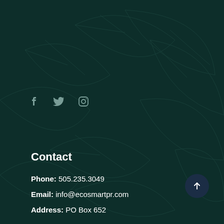[Figure (illustration): Dark teal background with subtle leaf/botanical pattern overlay]
f  (twitter bird icon)  (instagram icon)
Contact
Phone: 505.235.3049
Email: info@ecosmartpr.com
Address: PO Box 652